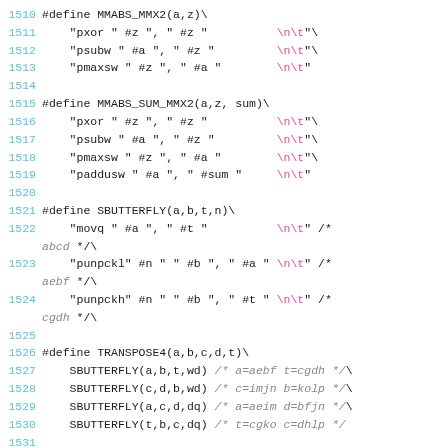Source code listing lines 1510-1531 showing C preprocessor macros MMABS_MMX2, MMABS_SUM_MMX2, SBUTTERFLY, and TRANSPOSE4 with inline assembly strings.